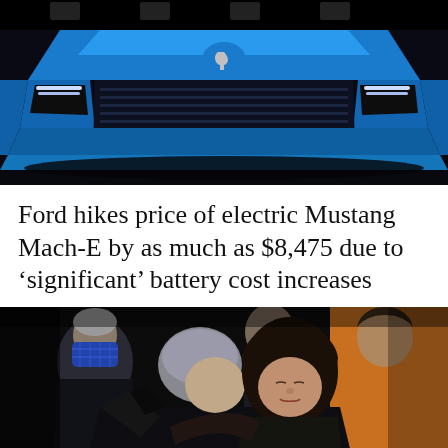[Figure (photo): Front view of a blue Ford Mustang Mach-E GT First Edition electric vehicle on a dark background, showing the grille with Mustang pony logo and 'GT First Edition' badge.]
Ford hikes price of electric Mustang Mach-E by as much as $8,475 due to ‘significant’ battery cost increases
[Figure (photo): Two people embracing in an outdoor setting. One person with gray hair is hugging a woman with dark hair. Other people visible in the background including a man in a blue plaid mask and a woman in an orange coat.]